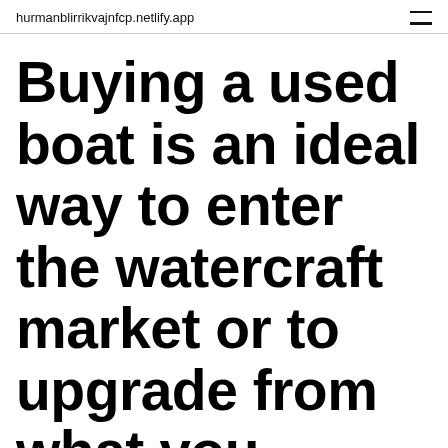hurmanblirrikvajnfcp.netlify.app
Buying a used boat is an ideal way to enter the watercraft market or to upgrade from what you already own. Knowing about